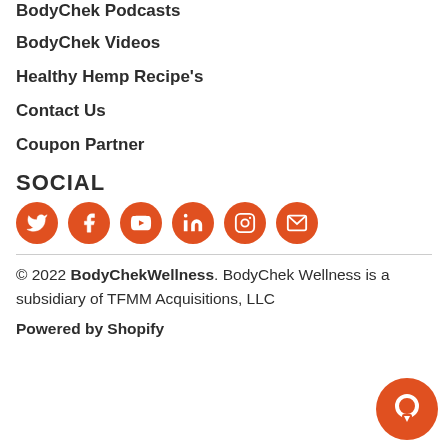BodyChek Podcasts
BodyChek Videos
Healthy Hemp Recipe's
Contact Us
Coupon Partner
SOCIAL
[Figure (infographic): Six orange circular social media icons: Twitter, Facebook, YouTube, LinkedIn, Instagram, Email]
© 2022 BodyChekWellness. BodyChek Wellness is a subsidiary of TFMM Acquisitions, LLC
Powered by Shopify
[Figure (illustration): Orange circular chat bubble icon in bottom right corner]